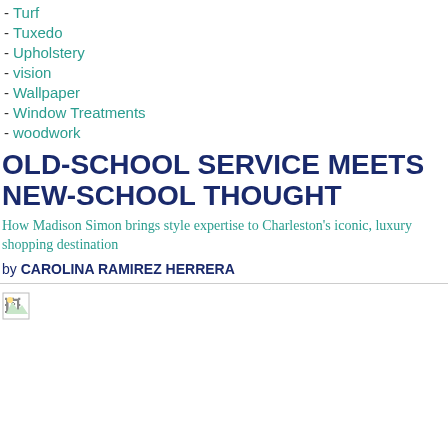- Turf
- Tuxedo
- Upholstery
- vision
- Wallpaper
- Window Treatments
- woodwork
OLD-SCHOOL SERVICE MEETS NEW-SCHOOL THOUGHT
How Madison Simon brings style expertise to Charleston’s iconic, luxury shopping destination
by CAROLINA RAMIREZ HERRERA
[Figure (photo): Broken/missing image placeholder icon]